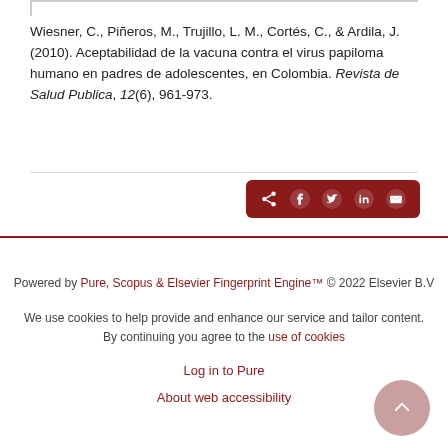Wiesner, C., Piñeros, M., Trujillo, L. M., Cortés, C., & Ardila, J. (2010). Aceptabilidad de la vacuna contra el virus papiloma humano en padres de adolescentes, en Colombia. Revista de Salud Publica, 12(6), 961-973.
[Figure (other): Dark red share bar with icons for share, Facebook, Twitter, LinkedIn, and email]
Powered by Pure, Scopus & Elsevier Fingerprint Engine™ © 2022 Elsevier B.V

We use cookies to help provide and enhance our service and tailor content. By continuing you agree to the use of cookies

Log in to Pure

About web accessibility